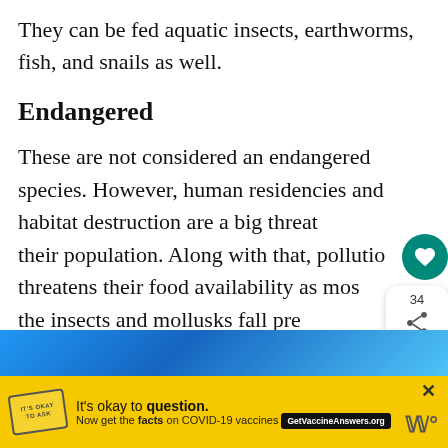They can be fed aquatic insects, earthworms, fish, and snails as well.
Endangered
These are not considered an endangered species. However, human residencies and habitat destruction are a big threat their population. Along with that, pollutio threatens their food availability as most the insects and mollusks fall pre
[Figure (screenshot): Blue image bar partially visible at bottom of main content area]
[Figure (infographic): Advertisement banner: yellow background with stamp graphic, text 'It’s okay to question. Now get the facts on COVID-19 vaccines GetVaccineAnswers.org']